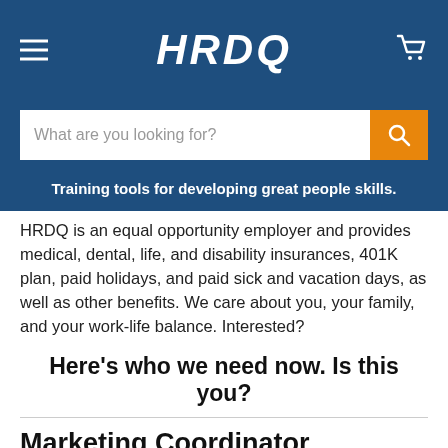HRDQ
What are you looking for?
Training tools for developing great people skills.
HRDQ is an equal opportunity employer and provides medical, dental, life, and disability insurances, 401K plan, paid holidays, and paid sick and vacation days, as well as other benefits. We care about you, your family, and your work-life balance. Interested?
Here’s who we need now. Is this you?
Marketing Coordinator
About the opportunity